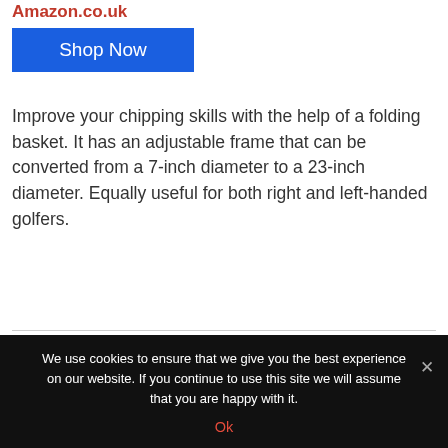Amazon.co.uk
Shop Now
Improve your chipping skills with the help of a folding basket. It has an adjustable frame that can be converted from a 7-inch diameter to a 23-inch diameter. Equally useful for both right and left-handed golfers.
[Figure (photo): Product image partially visible with a Victoria brand circular badge/logo in the center]
We use cookies to ensure that we give you the best experience on our website. If you continue to use this site we will assume that you are happy with it. Ok